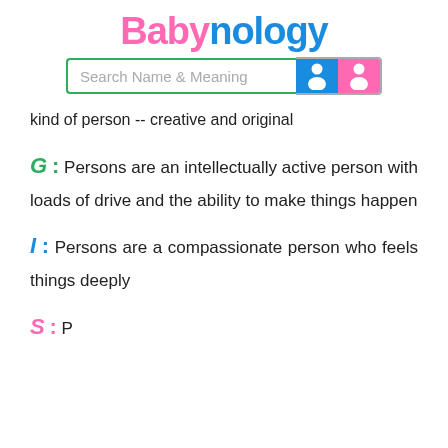Babynology
[Figure (screenshot): Search Name & Meaning input bar with blue male and pink female icons]
kind of person -- creative and original
G : Persons are an intellectually active person with loads of drive and the ability to make things happen
I : Persons are a compassionate person who feels things deeply
S : Persons are...